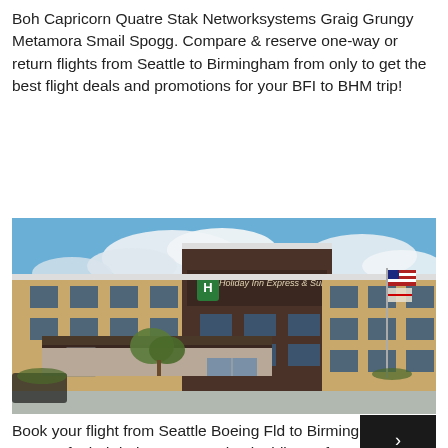Boh Capricorn Quatre Stak Networksystems Graig Grungy Metamora Smail Spogg. Compare & reserve one-way or return flights from Seattle to Birmingham from only to get the best flight deals and promotions for your BFI to BHM trip!
[Figure (photo): Exterior photo of a Holiday Inn Express & Suites hotel building with stone pillars, covered entrance canopy, American flag on a pole, blue sky with clouds in the background]
Book your flight from Seattle Boeing Fld to Birmingham with peace of mind during COVID Check airline safety scores. Fro